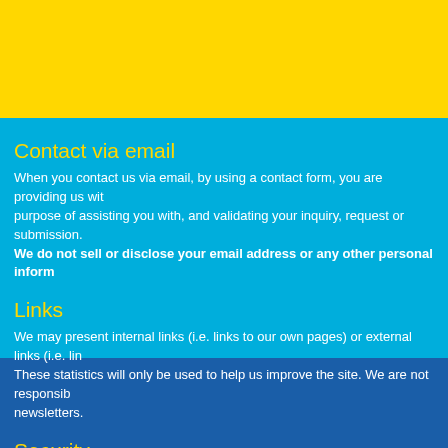Contact via email
When you contact us via email, by using a contact form, you are providing us with information for the purpose of assisting you with, and validating your inquiry, request or submission.
We do not sell or disclose your email address or any other personal information.
Links
We may present internal links (i.e. links to our own pages) or external links (i.e. links to other sites). These statistics will only be used to help us improve the site. We are not responsible for newsletters.
Security
We protect personal information against such risks as loss or theft, unauthorized access, and security measures.